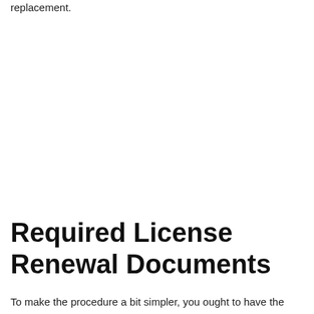replacement.
Required License Renewal Documents
To make the procedure a bit simpler, you ought to have the